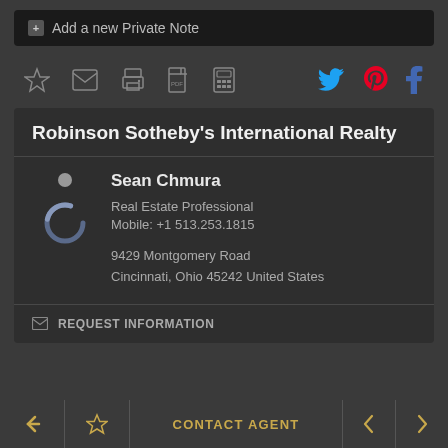+ Add a new Private Note
[Figure (screenshot): Icon toolbar with star, email, print, PDF, calculator icons on left; Twitter, Pinterest, Facebook icons on right]
Robinson Sotheby's International Realty
Sean Chmura
Real Estate Professional
Mobile: +1 513.253.1815
9429 Montgomery Road
Cincinnati, Ohio 45242 United States
REQUEST INFORMATION
CONTACT AGENT